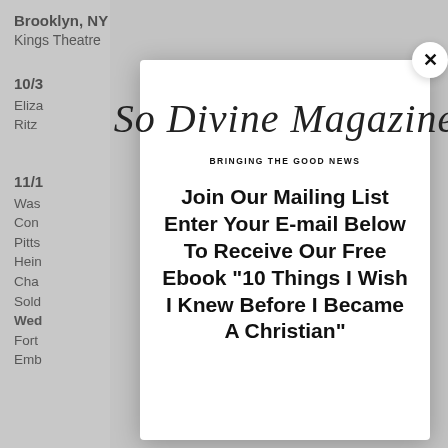Brooklyn, NY
Kings Theatre
10/3
Eliza
Ritz
11/1
Was
Con
Pitts
Hein
Cha
Sold
Wed
Fort
Emb
[Figure (other): So Divine Magazine script logo with tagline BRINGING THE GOOD NEWS]
Join Our Mailing List Enter Your E-mail Below To Receive Our Free Ebook "10 Things I Wish I Knew Before I Became A Christian"